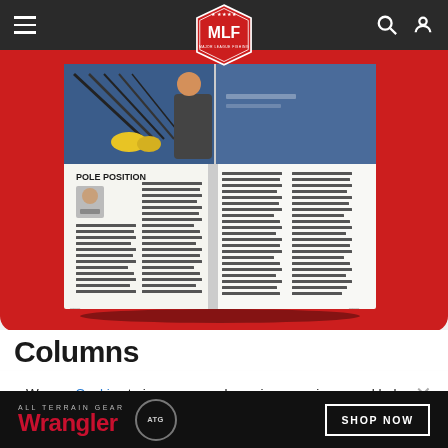MLF Major League Fishing navigation bar with hamburger menu, MLF logo, search and user icons
[Figure (photo): Open magazine spread showing 'Pole Position' article with fishing rod/reel photo on top half and multi-column text layout below, displayed on a red background]
Columns
We use Cookies to improve your browsing experience and help us improve our website. Our Privacy Policy and Terms of Service have changed. Click OK to agree.
[Figure (other): OK button (red pill-shaped button) for cookie consent]
[Figure (other): Advertisement banner: ALL TERRAIN GEAR Wrangler (ATG) with SHOP NOW button]